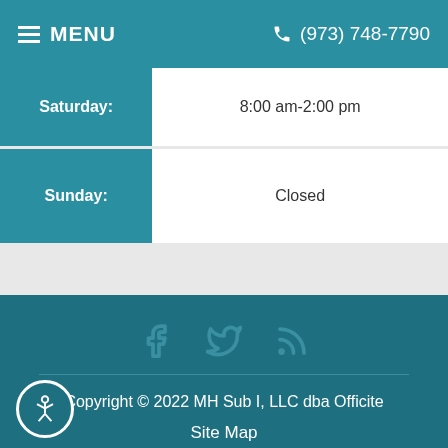MENU  (973) 748-7790
| Day | Hours |
| --- | --- |
| Saturday: | 8:00 am - 2:00 pm |
| Sunday: | Closed |
[Figure (infographic): Social media icons: Facebook, Twitter, RSS feed]
Copyright © 2022 MH Sub I, LLC dba Officite
Site Map